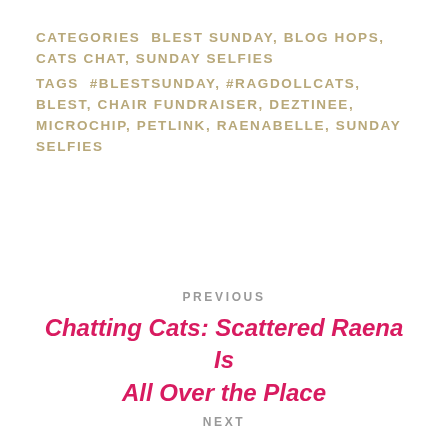CATEGORIES  BLEST SUNDAY, BLOG HOPS, CATS CHAT, SUNDAY SELFIES
TAGS  #BLESTSUNDAY, #RAGDOLLCATS, BLEST, CHAIR FUNDRAISER, DEZTINEE, MICROCHIP, PETLINK, RAENABELLE, SUNDAY SELFIES
PREVIOUS
Chatting Cats: Scattered Raena Is All Over the Place
NEXT